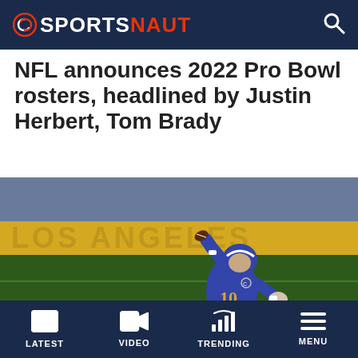SPORTSNAUT
NFL announces 2022 Pro Bowl rosters, headlined by Justin Herbert, Tom Brady
[Figure (photo): NFL quarterback Justin Herbert (#10) of the Los Angeles Chargers in blue and gold uniform, throwing a football, with 'LOS ANGELES' visible in yellow letters in the background.]
LATEST  VIDEO  TRENDING  MENU